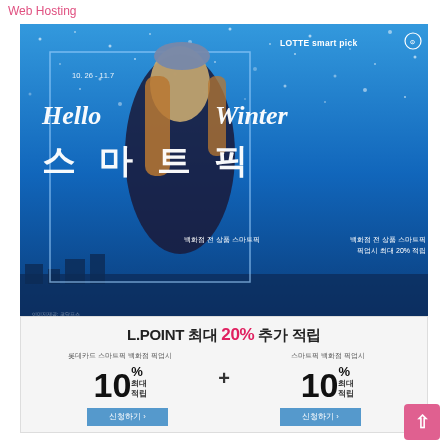Web Hosting
[Figure (photo): Lotte Smart Pick Hello Winter promotional advertisement. Blue winter background with snow, woman in dark coat and knit hat, large Korean text '스 마 트 픽' and 'Hello Winter' script text, date 10.26-11.7, Korean promotional text about department store Smart Pick earn up to 20%]
L.POINT 최대 20% 추가 적립
롯데카드 스마트픽 백화점 픽업시
10% 최대 적립
스마트픽 백화점 픽업시
10% 최대 적립
신청하기 ›
신청하기 ›